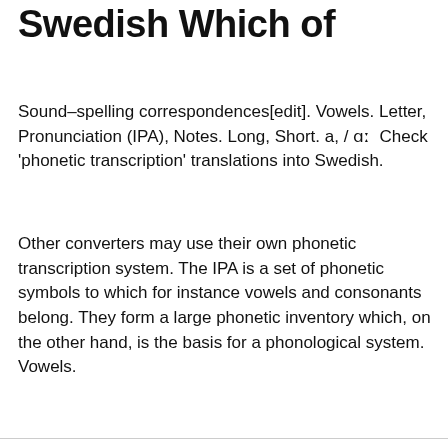Swedish Which of
Sound–spelling correspondences[edit]. Vowels. Letter, Pronunciation (IPA), Notes. Long, Short. a, / ɑː  Check 'phonetic transcription' translations into Swedish.
Other converters may use their own phonetic transcription system. The IPA is a set of phonetic symbols to which for instance vowels and consonants belong. They form a large phonetic inventory which, on the other hand, is the basis for a phonological system. Vowels.